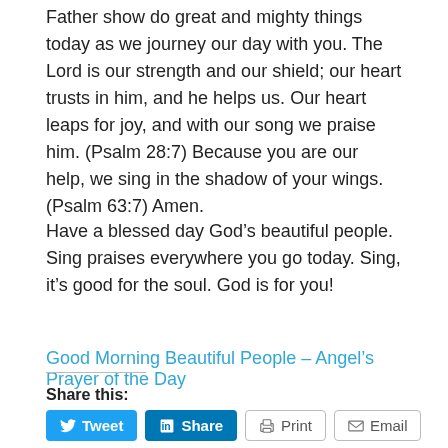Father show do great and mighty things today as we journey our day with you. The Lord is our strength and our shield; our heart trusts in him, and he helps us. Our heart leaps for joy, and with our song we praise him. (Psalm 28:7) Because you are our help, we sing in the shadow of your wings. (Psalm 63:7) Amen.
Have a blessed day God's beautiful people. Sing praises everywhere you go today. Sing, it's good for the soul. God is for you!
Good Morning Beautiful People – Angel's Prayer of the Day
Share this:
Tweet | Share | Print | Email